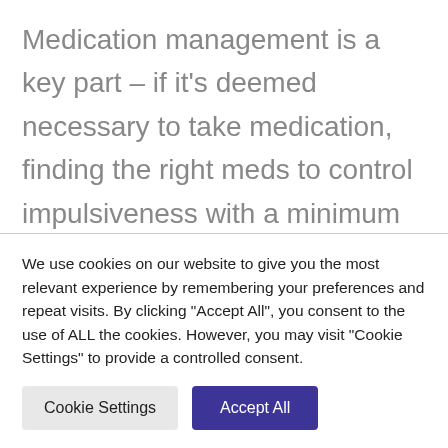Medication management is a key part – if it's deemed necessary to take medication, finding the right meds to control impulsiveness with a minimum of side effects is important. Equally important is to constantly reassess the need to continue them and to ensure they are at maximum effectiveness as the child grows both in size (which
We use cookies on our website to give you the most relevant experience by remembering your preferences and repeat visits. By clicking "Accept All", you consent to the use of ALL the cookies. However, you may visit "Cookie Settings" to provide a controlled consent.